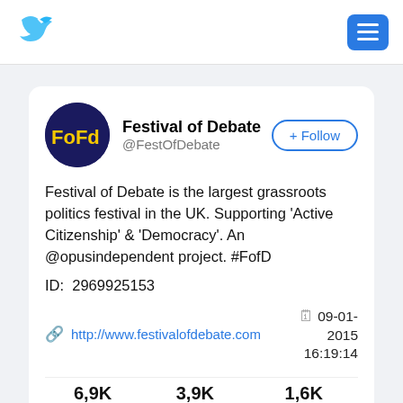[Figure (logo): Blue bird logo (Twitter-style) in top left navigation bar]
[Figure (logo): Blue hamburger menu button in top right of navigation bar]
[Figure (logo): Festival of Debate circular avatar: dark navy background with yellow 'FoFd' text]
Festival of Debate
@FestOfDebate
+ Follow
Festival of Debate is the largest grassroots politics festival in the UK. Supporting 'Active Citizenship' & 'Democracy'. An @opusindependent project. #FofD
ID:  2969925153
http://www.festivalofdebate.com
09-01-2015 16:19:14
6,9K
Tweets
3,9K
Followers
1,6K
Following